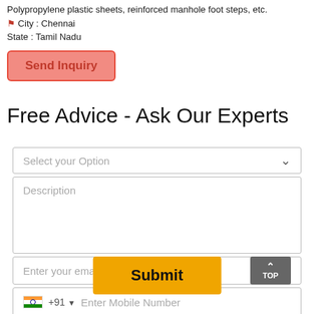Polypropylene plastic sheets, reinforced manhole foot steps, etc.
📍 City : Chennai
State : Tamil Nadu
Send Inquiry
Free Advice - Ask Our Experts
Select your Option
Description
Enter your email
+91  Enter Mobile Number
Submit